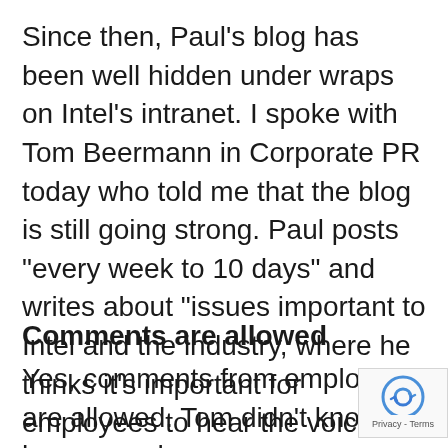Since then, Paul's blog has been well hidden under wraps on Intel's intranet. I spoke with Tom Beermann in Corporate PR today who told me that the blog is still going strong. Paul posts “every week to 10 days” and writes about “issues important to Intel and the industry, where he thinks it’s important for employees to hear the voice of the CEO.” His posts are generally about 500 words long.
Comments are allowed
Yes, comments from employees are allowed. Tom didn’t know how many ha…